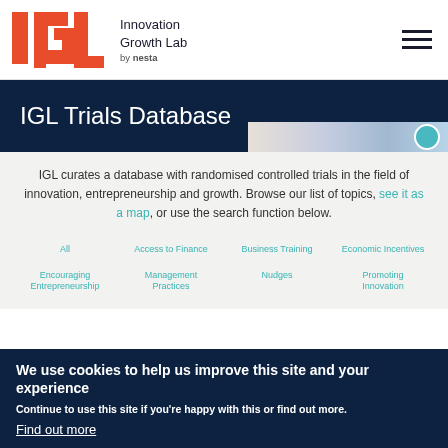Innovation Growth Lab by nesta
IGL Trials Database
IGL curates a database with randomised controlled trials in the field of innovation, entrepreneurship and growth. Browse our list of topics, see it as a map, or use the search function below.
All
Access to Finance
Business Training
Economic Incentives
Encouraging Entrepreneurship
Management Practices
Nudges
Promoting Innovation
We use cookies to help us improve this site and your experience
Continue to use this site if you're happy with this or find out more.
Find out more